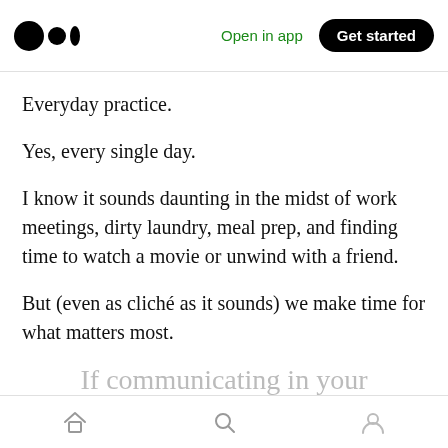Medium logo | Open in app | Get started
Everyday practice.
Yes, every single day.
I know it sounds daunting in the midst of work meetings, dirty laundry, meal prep, and finding time to watch a movie or unwind with a friend.
But (even as cliché as it sounds) we make time for what matters most.
If communicating in your
Home | Search | Profile